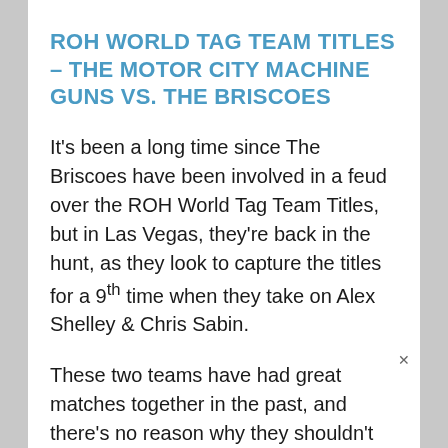ROH WORLD TAG TEAM TITLES – THE MOTOR CITY MACHINE GUNS VS. THE BRISCOES
It's been a long time since The Briscoes have been involved in a feud over the ROH World Tag Team Titles, but in Las Vegas, they're back in the hunt, as they look to capture the titles for a 9th time when they take on Alex Shelley & Chris Sabin.
These two teams have had great matches together in the past, and there's no reason why they shouldn't be able to deliver the same at every show here.